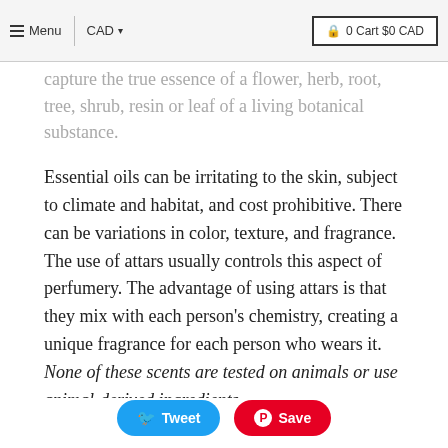Menu  CAD  0 Cart $0 CAD
capture the true essence of a flower, herb, root, tree, shrub, resin or leaf of a living botanical substance.
Essential oils can be irritating to the skin, subject to climate and habitat, and cost prohibitive. There can be variations in color, texture, and fragrance. The use of attars usually controls this aspect of perfumery. The advantage of using attars is that they mix with each person's chemistry, creating a unique fragrance for each person who wears it. None of these scents are tested on animals or use animal-derived ingredients.